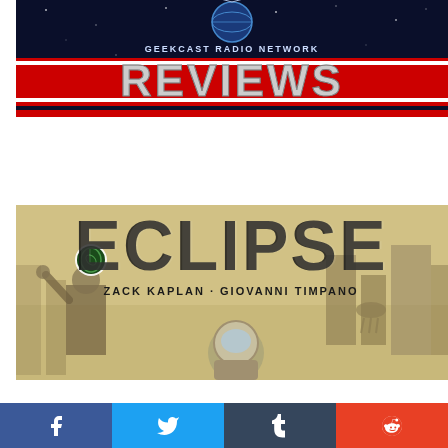[Figure (illustration): Geekcast Radio Network Reviews banner with blue space background, red and white REVIEWS text in large metallic letters, and a globe/satellite graphic at top center]
[Figure (illustration): Eclipse comic book cover art showing large distressed black ECLIPSE text, Top Cow logo, authors Zack Kaplan and Giovanni Timpano, sepia-toned scene with figure in space suit helmet and another figure with hand raised]
[Figure (infographic): Social media share bar with four buttons: Facebook (blue), Twitter (light blue), Tumblr (dark blue-grey), Reddit (orange-red)]